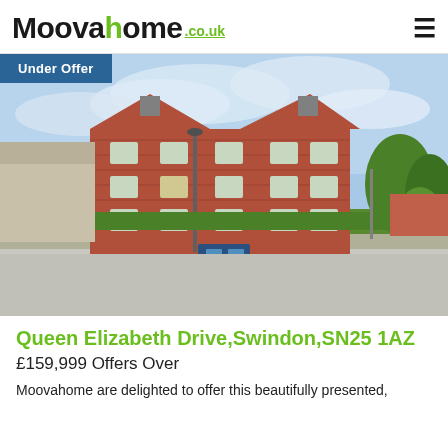Moovahome .co.uk
[Figure (photo): Exterior photograph of a red brick residential apartment building (Queen Elizabeth Drive, Swindon, SN25 1AZ) with blue sky, trees and road in foreground. An 'Under Offer' badge overlays the top-left corner.]
Queen Elizabeth Drive,Swindon,SN25 1AZ
£159,999 Offers Over
Moovahome are delighted to offer this beautifully presented,